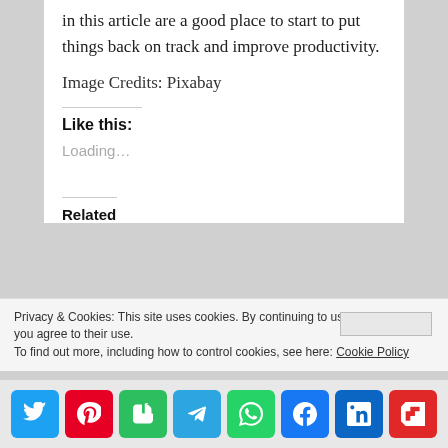in this article are a good place to start to put things back on track and improve productivity.
Image Credits: Pixabay
Like this:
Loading…
Related
Privacy & Cookies: This site uses cookies. By continuing to use this website, you agree to their use.
To find out more, including how to control cookies, see here: Cookie Policy